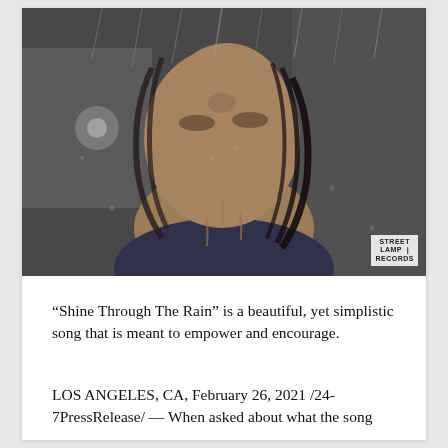[Figure (photo): Black and white close-up photo of a person with head tilted back, eyes closed, with water/rain droplets falling on their face and wet hair. A 'Street Lamp Records' watermark appears in the bottom right corner.]
“Shine Through The Rain” is a beautiful, yet simplistic song that is meant to empower and encourage.
LOS ANGELES, CA, February 26, 2021 /24-7PressRelease/ — When asked about what the song